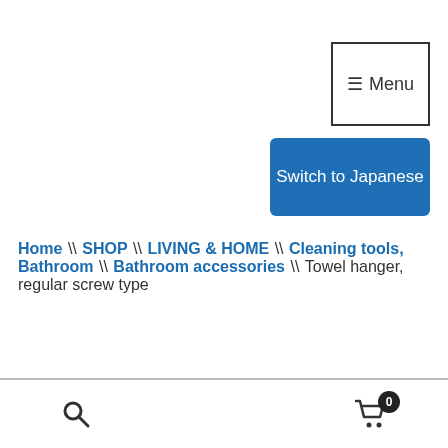☰ Menu
Switch to Japanese
Home \ SHOP \ LIVING & HOME \ Cleaning tools, Bathroom \ Bathroom accessories \ Towel hanger, regular screw type
Search | Cart 0